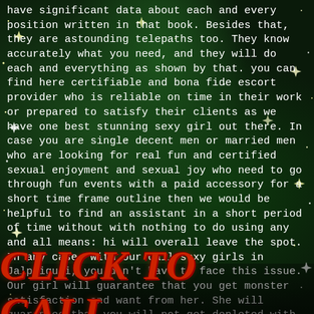have significant data about each and every position written in that book. Besides that, they are astounding telepaths too. They know accurately what you need, and they will do each and everything as shown by that. you can find here certifiable and bona fide escort provider who is reliable on time in their work or prepared to satisfy their clients as we have one best stunning sexy girl out there. In case you are single decent men or married men who are looking for real fun and certified sexual enjoyment and sexual joy who need to go through fun events with a paid accessory for a short time frame outline then we would be helpful to find an assistant in a short period of time without with nothing to do using any and all means: hi will overall leave the spot. In any case, with our call sexy girls in Jalpaiguri, you don't have to face this issue. Our girl will guarantee that you get monster satisfaction and want from her. She will guarantee that you will not get depleted with
CLICK TO CALL